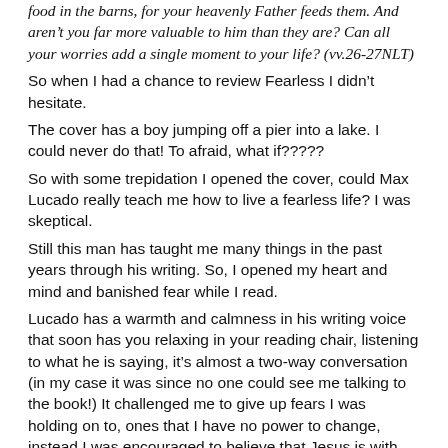food in the barns, for your heavenly Father feeds them. And aren't you far more valuable to him than they are? Can all your worries add a single moment to your life? (vv.26-27NLT)
So when I had a chance to review Fearless I didn't hesitate.
The cover has a boy jumping off a pier into a lake. I could never do that! To afraid, what if?????
So with some trepidation I opened the cover, could Max Lucado really teach me how to live a fearless life? I was skeptical.
Still this man has taught me many things in the past years through his writing. So, I opened my heart and mind and banished fear while I read.
Lucado has a warmth and calmness in his writing voice that soon has you relaxing in your reading chair, listening to what he is saying, it's almost a two-way conversation (in my case it was since no one could see me talking to the book!) It challenged me to give up fears I was holding on to, ones that I have no power to change, instead I was encouraged to believe that Jesus is with me, He has been in the same place and knows how I feel.